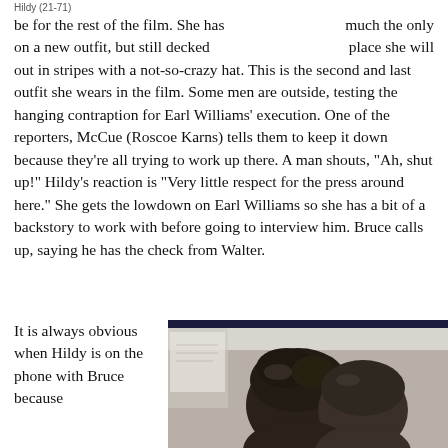Hildy (21-71)
much the only place she will be for the rest of the film. She has on a new outfit, but still decked out in stripes with a not-so-crazy hat. This is the second and last outfit she wears in the film. Some men are outside, testing the hanging contraption for Earl Williams' execution. One of the reporters, McCue (Roscoe Karns) tells them to keep it down because they're all trying to work up there. A man shouts, "Ah, shut up!" Hildy's reaction is "Very little respect for the press around here." She gets the lowdown on Earl Williams so she has a bit of a backstory to work with before going to interview him. Bruce calls up, saying he has the check from Walter.
It is always obvious when Hildy is on the phone with Bruce because
[Figure (photo): Black and white photograph showing two people close together, one seen from behind with dark hair in an updo style.]